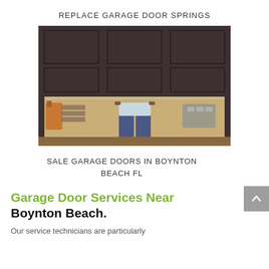REPLACE GARAGE DOOR SPRINGS
[Figure (photo): Person standing in a partially opened dark brown garage door, with garage interior visible in background showing shelving, pallets, and storage items.]
SALE GARAGE DOORS IN BOYNTON BEACH FL
Garage Door Services Near Boynton Beach.
Our service technicians are particularly